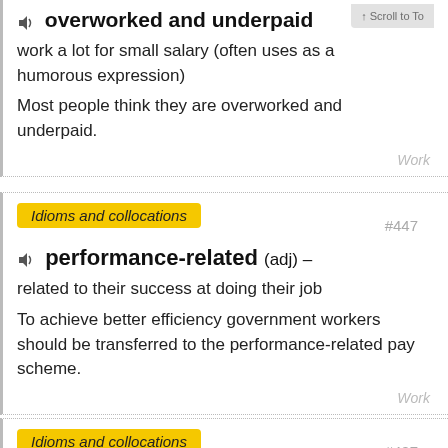overworked and underpaid
work a lot for small salary (often uses as a humorous expression)
Most people think they are overworked and underpaid.
Work
Idioms and collocations
#447
performance-related (adj) –
related to their success at doing their job
To achieve better efficiency government workers should be transferred to the performance-related pay scheme.
Work
Idioms and collocations
#427